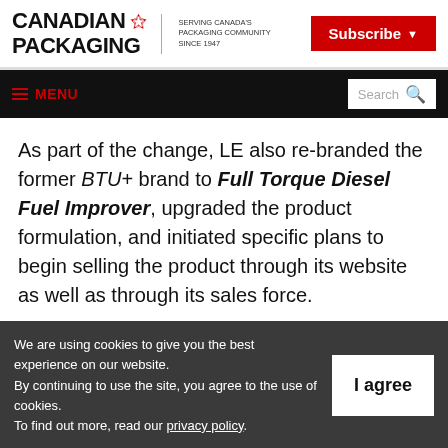CANADIAN PACKAGING — SERVING CANADA'S PACKAGING COMMUNITY SINCE 1947 | Subscribe
≡ MENU | Search
As part of the change, LE also re-branded the former BTU+ brand to Full Torque Diesel Fuel Improver, upgraded the product formulation, and initiated specific plans to begin selling the product through its website as well as through its sales force.
We are using cookies to give you the best experience on our website. By continuing to use the site, you agree to the use of cookies. To find out more, read our privacy policy.